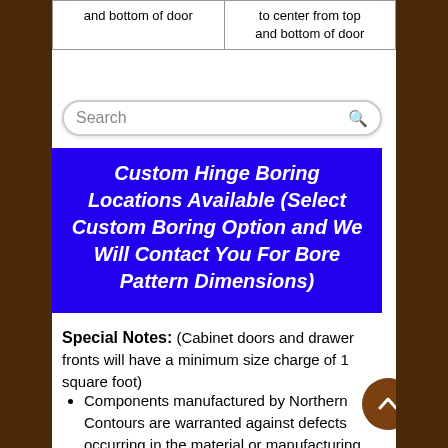| and bottom of door | to center from top
and bottom of door |
Search
Custom Hinge Boring Locations Available (Select Custom Boring Option and We Will Contact You For Bore Pattern Dimensions)
Special Notes: (Cabinet doors and drawer fronts will have a minimum size charge of 1 square foot)
Components manufactured by Northern Contours are warranted against defects occurring in the material or manufacturing process under normal use for 5 (FIVE) years from the date of original purchase.